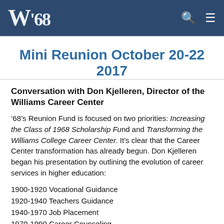W'68  [search icon] [menu icon]
Mini Reunion October 20-22 2017
Conversation with Don Kjelleren, Director of the Williams Career Center
’68’s Reunion Fund is focused on two priorities: Increasing the Class of 1968 Scholarship Fund and Transforming the Williams College Career Center. It’s clear that the Career Center transformation has already begun. Don Kjelleren began his presentation by outlining the evolution of career services in higher education:
1900-1920 Vocational Guidance
1920-1940 Teachers Guidance
1940-1970 Job Placement
1970-1990 Career Counseling